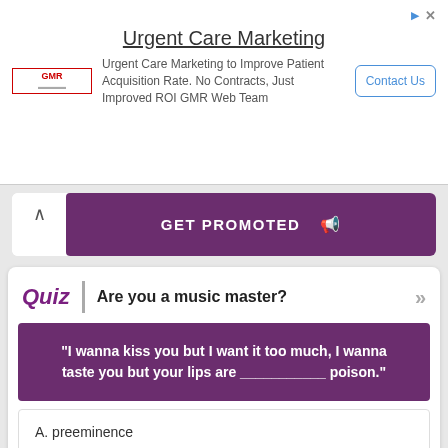[Figure (other): Advertisement banner for Urgent Care Marketing by GMR Web Team with Contact Us button]
GET PROMOTED
Quiz | Are you a music master?
"I wanna kiss you but I want it too much, I wanna taste you but your lips are ___________ poison."
A. preeminence
B. venomous
C. seriously